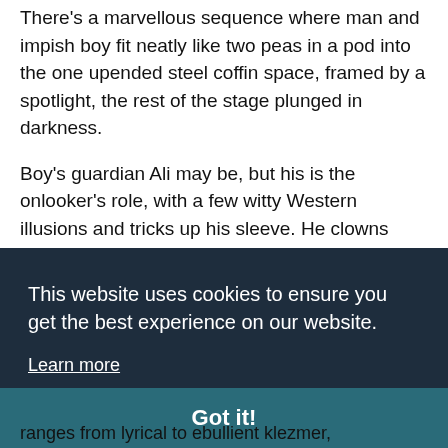There's a marvellous sequence where man and impish boy fit neatly like two peas in a pod into the one upended steel coffin space, framed by a spotlight, the rest of the stage plunged in darkness.
Boy's guardian Ali may be, but his is the onlooker's role, with a few witty Western illusions and tricks up his sleeve. He clowns walking down the stairs into his steel box - Buster Keaton - houses fall on top of him, his hand reaches out - rescue me.
This website uses cookies to ensure you get the best experience on our website.
Learn more
Got it!
ranges from lyrical to ebullient klezmer,